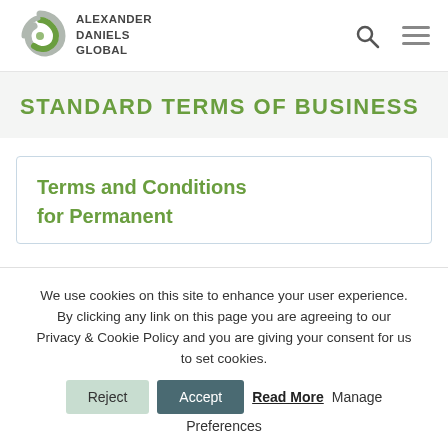ALEXANDER DANIELS GLOBAL
STANDARD TERMS OF BUSINESS
Terms and Conditions for Permanent
We use cookies on this site to enhance your user experience. By clicking any link on this page you are agreeing to our Privacy & Cookie Policy and you are giving your consent for us to set cookies. Reject Accept Read More Manage Preferences